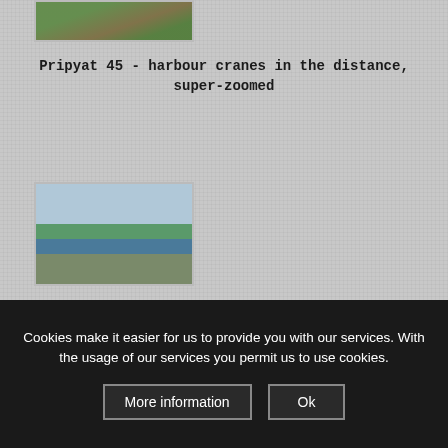[Figure (photo): Partial top of image showing harbour cranes among trees and industrial structures in the distance, super-zoomed]
Pripyat 45 - harbour cranes in the distance, super-zoomed
[Figure (photo): River scene with a dock or pier structure on the right, calm water, trees in the background, small sailboat visible on the water]
Cookies make it easier for us to provide you with our services. With the usage of our services you permit us to use cookies.
More information
Ok